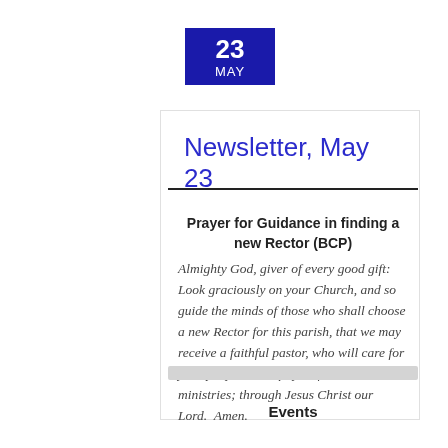23 MAY
Newsletter, May 23
Prayer for Guidance in finding a new Rector (BCP)
Almighty God, giver of every good gift:  Look graciously on your Church, and so guide the minds of those who shall choose a new Rector for this parish, that we may receive a faithful pastor, who will care for your people and equip us for our ministries; through Jesus Christ our Lord.  Amen.
Events